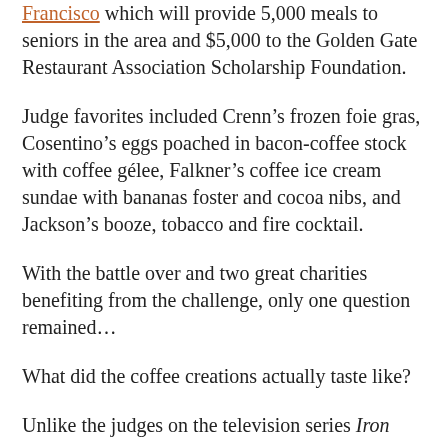Francisco which will provide 5,000 meals to seniors in the area and $5,000 to the Golden Gate Restaurant Association Scholarship Foundation.
Judge favorites included Crenn’s frozen foie gras, Cosentino’s eggs poached in bacon-coffee stock with coffee gélee, Falkner’s coffee ice cream sundae with bananas foster and cocoa nibs, and Jackson’s booze, tobacco and fire cocktail.
With the battle over and two great charities benefiting from the challenge, only one question remained…
What did the coffee creations actually taste like?
Unlike the judges on the television series Iron